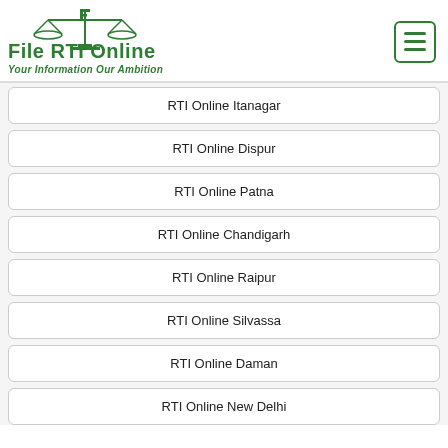[Figure (logo): File RTI Online logo with scales of justice icon, green text 'File RTI Online' and tagline 'Your Information Our Ambition']
RTI Online Itanagar
RTI Online Dispur
RTI Online Patna
RTI Online Chandigarh
RTI Online Raipur
RTI Online Silvassa
RTI Online Daman
RTI Online New Delhi